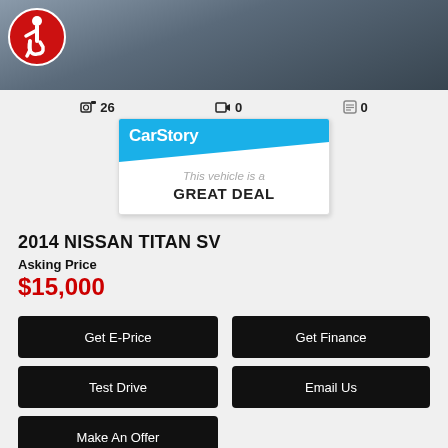[Figure (photo): Top portion of vehicle listing page showing a partial car photo with asphalt background and a red circular accessibility icon overlay]
📷 26   🎬 0   📋 0
[Figure (infographic): CarStory badge with blue header and text: This vehicle is a GREAT DEAL]
2014 NISSAN TITAN SV
Asking Price
$15,000
Get E-Price
Get Finance
Test Drive
Email Us
Make An Offer
Stock Num: EN511315   Mileage: 135,799   Color: Red
Transmission: Automatic
Engine: 5.6L V8 32 Valve 317HP DOHC